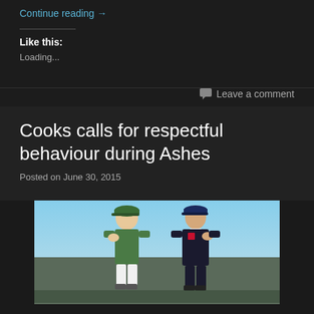Continue reading →
Like this:
Loading...
Leave a comment
Cooks calls for respectful behaviour during Ashes
Posted on June 30, 2015
[Figure (photo): Two cricket players in caps shaking hands, one in green Australian uniform and one in dark England uniform, against a blue sky background]